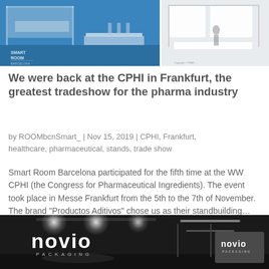[Figure (photo): Two trade show booth images side by side: left shows a blue-floored exhibition stand with Smart Room branding, right shows a white minimalist stand.]
We were back at the CPHI in Frankfurt, the greatest tradeshow for the pharma industry
by ROOMbcnSmart_ | Nov 15, 2019 | CPHI, Frankfurt, healthcare, pharmaceutical, stands, trade show
Smart Room Barcelona participated for the fifth time at the WW CPHI (the Congress for Pharmaceutical Ingredients). The event took place in Messe Frankfurt from the 5th to the 7th of November. The brand "Productos Aditivos" chose us as their standbuilding...
[Figure (photo): Dark exhibition stand with Novio Packaging branding, illuminated with spotlights, showing the brand name in large white letters.]